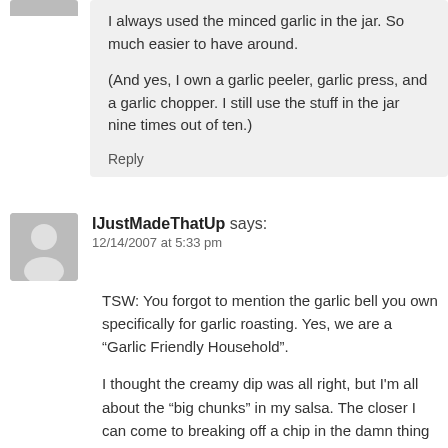[Figure (illustration): Small avatar image thumbnail at top left, partially visible]
I always used the minced garlic in the jar. So much easier to have around.

(And yes, I own a garlic peeler, garlic press, and a garlic chopper. I still use the stuff in the jar nine times out of ten.)
Reply
[Figure (illustration): Gray avatar silhouette icon for user IJustMadeThatUp]
IJustMadeThatUp says:
12/14/2007 at 5:33 pm
TSW: You forgot to mention the garlic bell you own specifically for garlic roasting. Yes, we are a “Garlic Friendly Household”.

I thought the creamy dip was all right, but I'm all about the “big chunks” in my salsa. The closer I can come to breaking off a chip in the damn thing and just spooning it on to my plate, the better off I feel about my dip.

And one side note: Be sure to eat either of these